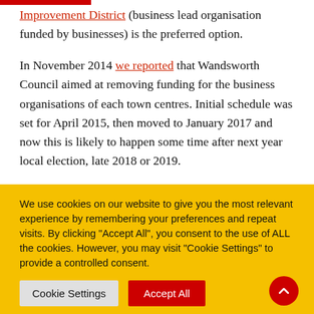Improvement District (business lead organisation funded by businesses) is the preferred option.
In November 2014 we reported that Wandsworth Council aimed at removing funding for the business organisations of each town centres. Initial schedule was set for April 2015, then moved to January 2017 and now this is likely to happen some time after next year local election, late 2018 or 2019.
We use cookies on our website to give you the most relevant experience by remembering your preferences and repeat visits. By clicking "Accept All", you consent to the use of ALL the cookies. However, you may visit "Cookie Settings" to provide a controlled consent.